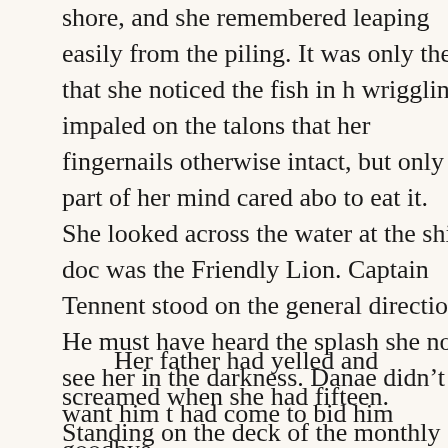shore, and she remembered leaping easily from the piling. It was only then that she noticed the fish in h wriggling, impaled on the talons that her fingernails otherwise intact, but only part of her mind cared abo to eat it. She looked across the water at the ship doc was the Friendly Lion. Captain Tennent stood on the general direction. He must have heard the splash she not see her in the darkness. Danae didn't want him t had come to bid him goodbye.
Her father had yelled and screamed when she had fifteen. Standing on the deck of the monthly trading dock, she had watched as he helplessly shouted and turned to pleading as the distance grew, and then to away completely. The last words Danae could make of warning against eating fish. Then he was gone. N again, but there was no one to call for her, no one to